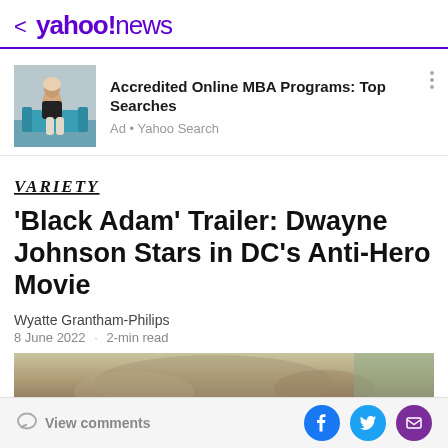< yahoo!news
[Figure (photo): Advertisement banner showing a person sitting on a teal sofa with laptop, promoting Accredited Online MBA Programs]
Accredited Online MBA Programs: Top Searches
Ad • Yahoo Search
[Figure (logo): VARIETY logo in italic serif uppercase font]
'Black Adam' Trailer: Dwayne Johnson Stars in DC's Anti-Hero Movie
Wyatte Grantham-Philips
8 June 2022 · 2-min read
[Figure (photo): Partial image of a scene from the Black Adam movie, showing blurred figure in muted tones]
View comments